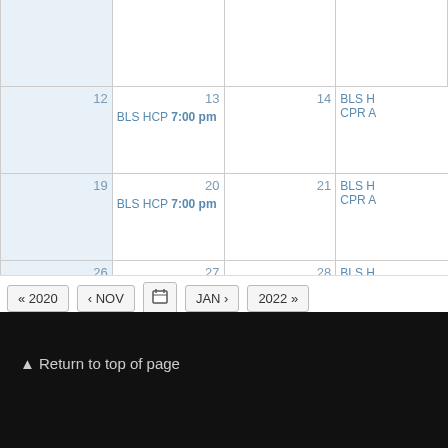| (Sun) | 12 | 13 | 14 | 15(partial) |
| --- | --- | --- | --- | --- |
|  | BLS HCP 7:00 pm |  | BLS H... CPR A... |  |
| 19 | 20
BLS HCP 7:00 pm | 21 | BLS H... CPR A... |  |
| 26 | 27
BLS HCP 7:00 pm | 28 | BLS H... CPR A... |  |
« 2020  ‹ NOV  [calendar icon]  JAN ›  2022 »
▲ Return to top of page